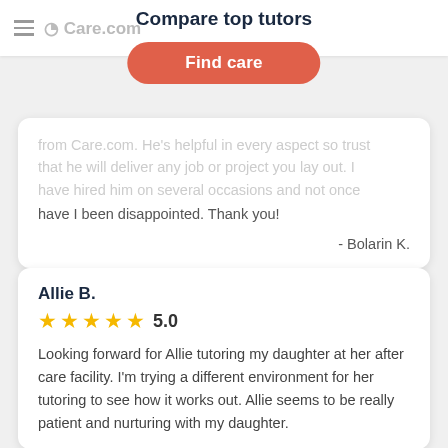Care.com — Compare top tutors | Find care
from Care.com. He's helpful in every aspect so trust that he will deliver any job or project you lay out. I have hired him on several occasions and not once have I been disappointed. Thank you!
- Bolarin K.
Allie B.
5.0
Looking forward for Allie tutoring my daughter at her after care facility. I'm trying a different environment for her tutoring to see how it works out. Allie seems to be really patient and nurturing with my daughter.